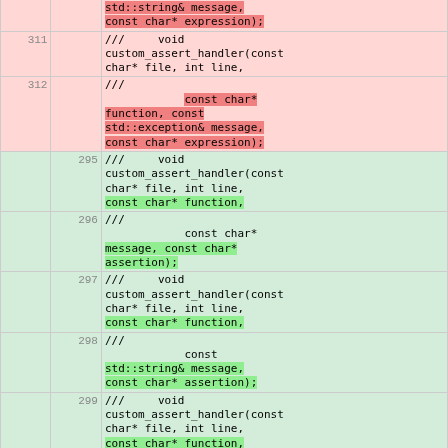| old line | new line | code |
| --- | --- | --- |
|  |  | std::string& message, const char* expression); |
| 311 |  | ///      void custom_assert_handler(const char* file, int line, |
| 312 |  | ///              const char* function, const std::exception& message, const char* expression); |
|  | 295 | ///      void custom_assert_handler(const char* file, int line, const char* function, |
|  | 296 | ///              const char* message, const char* assertion); |
|  | 297 | ///      void custom_assert_handler(const char* file, int line, const char* function, |
|  | 298 | ///              const std::string& message, const char* assertion); |
|  | 299 | ///      void custom_assert_handler(const char* file, int line, const char* function, |
|  | 300 | ///              const std::exception& message, const char* assertion); |
| 313 | 301 | ///    \endcode |
| 314 | 302 | ///    The name of the |